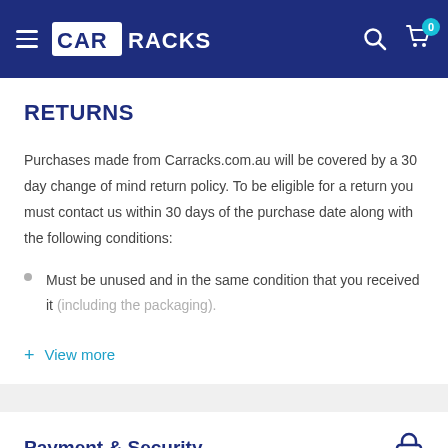CAR RACKS
RETURNS
Purchases made from Carracks.com.au will be covered by a 30 day change of mind return policy. To be eligible for a return you must contact us within 30 days of the purchase date along with the following conditions:
Must be unused and in the same condition that you received it (including the packaging).
+ View more
Payment & Security